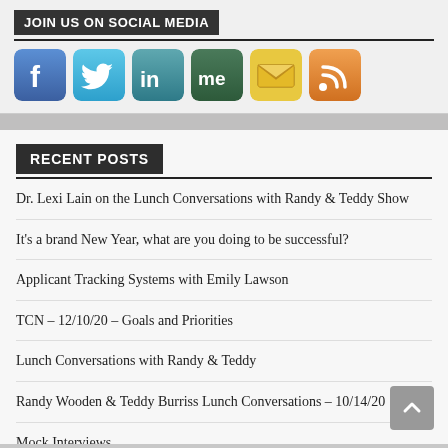JOIN US ON SOCIAL MEDIA
[Figure (illustration): Row of social media icons: Facebook (blue), Twitter (light blue), LinkedIn (dark blue/teal), About.me (dark teal with 'me'), email/envelope (gold/yellow), RSS feed (orange)]
RECENT POSTS
Dr. Lexi Lain on the Lunch Conversations with Randy & Teddy Show
It's a brand New Year, what are you doing to be successful?
Applicant Tracking Systems with Emily Lawson
TCN – 12/10/20 – Goals and Priorities
Lunch Conversations with Randy & Teddy
Randy Wooden & Teddy Burriss Lunch Conversations – 10/14/20
Mock Interviews